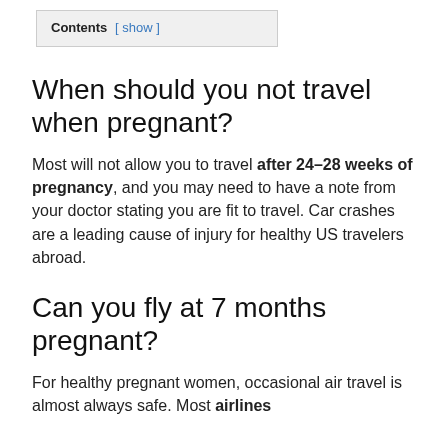Contents [ show ]
When should you not travel when pregnant?
Most will not allow you to travel after 24–28 weeks of pregnancy, and you may need to have a note from your doctor stating you are fit to travel. Car crashes are a leading cause of injury for healthy US travelers abroad.
Can you fly at 7 months pregnant?
For healthy pregnant women, occasional air travel is almost always safe. Most airlines